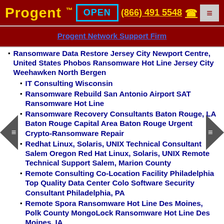Progent™ OPEN (866) 491 5548
Progent Network Support Firm
Ransomware Data Restore Jersey City Newport Centre, United States Phobos Ransomware Hot Line Jersey City Weehawken North Bergen
IT Consulting Wisconsin
Ransomware Rebuild San Antonio Airport SAT Ransomware Hot Line
Ransomware Recovery Consultants Baton Rouge, LA Baton Rouge Capital Area Baton Rouge Urgent Crypto-Ransomware Repair
Redhat Linux, Solaris, UNIX Technical Consultant Salem Oregon Red Hat Linux, Solaris, UNIX Remote Technical Support Salem, Marion County
Remote Consulting Co-Location Facility Philadelphia Top Quality Data Center Colo Software Security Consultant Philadelphia, PA
Remote Spora Ransomware Hot Line Des Moines, Polk County MongoLock Ransomware Hot Line Des Moines, IA
Remote Workforce Assistance nearby Irvine - Conferencing Technology Consulting Experts Irvine Remote